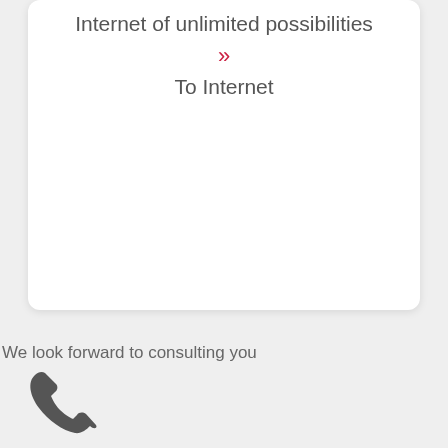Internet of unlimited possibilities
»
To Internet
We look forward to consulting you
[Figure (illustration): Phone handset icon in dark gray]
Call us for free
[Figure (illustration): Two person/user silhouette icons in dark gray]